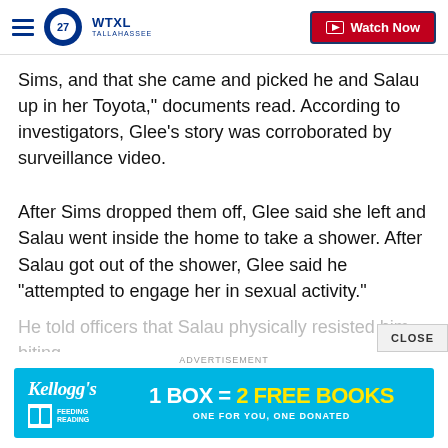WTXL TALLAHASSEE | Watch Now
Sims, and that she came and picked he and Salau up in her Toyota," documents read. According to investigators, Glee's story was corroborated by surveillance video.
After Sims dropped them off, Glee said she left and Salau went inside the home to take a shower. After Salau got out of the shower, Glee said he "attempted to engage her in sexual activity."
He told officers that Salau physically resisted him, biting...
[Figure (infographic): Kellogg's Feeding Reading advertisement banner: 1 BOX = 2 FREE BOOKS, ONE FOR YOU, ONE DONATED]